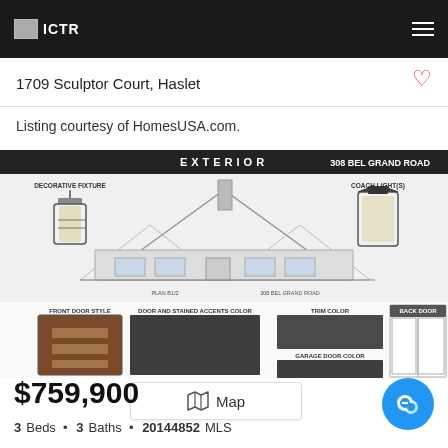ICTR
1709 Sculptor Court, Haslet
Listing courtesy of HomesUSA.com.
[Figure (engineering-diagram): Exterior house plan diagram showing front elevation of a single-story house with decorative fixtures, coach lights, front door style, door and stained accents color swatches, trim color, garage door color, brick, and back door. Header reads EXTERIOR and 308 BEL GRAND ROAD.]
$759,900
3 Beds • 3 Baths • 20144852 MLS